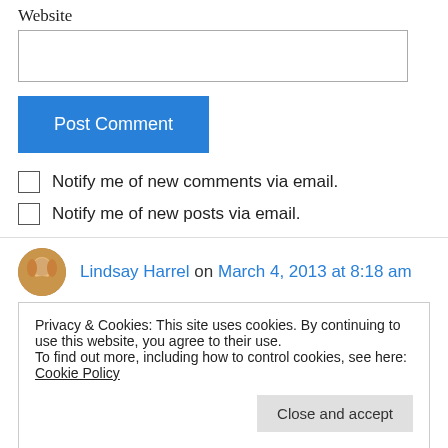Website
[Figure (other): Website text input field (empty)]
[Figure (other): Post Comment button (blue)]
Notify me of new comments via email.
Notify me of new posts via email.
Lindsay Harrel on March 4, 2013 at 8:18 am
Privacy & Cookies: This site uses cookies. By continuing to use this website, you agree to their use.
To find out more, including how to control cookies, see here: Cookie Policy
Close and accept